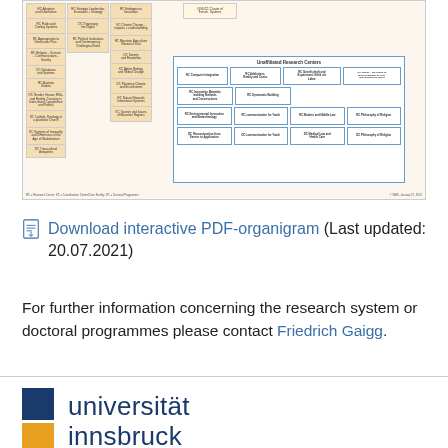[Figure (organizational-chart): Partial view of a university research organigram showing various research centers and departments arranged in a hierarchical structure with orange/tan colored boxes. Includes an 'Unaffiliated Research Centers' section with blue-bordered boxes.]
Download interactive PDF-organigram (Last updated: 20.07.2021)
For further information concerning the research system or doctoral programmes please contact Friedrich Gaigg.
[Figure (logo): Universität Innsbruck logo with dark blue and orange squares and text 'universität innsbruck' in dark blue.]